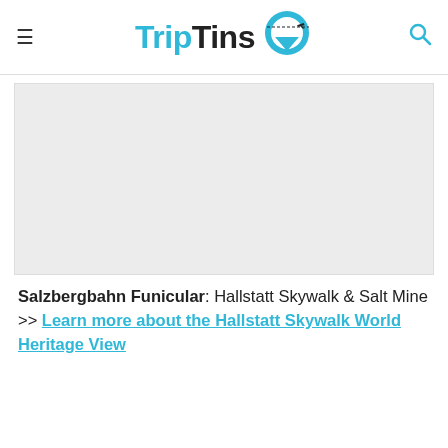TripTins
[Figure (photo): Placeholder image area for Salzbergbahn Funicular content]
Salzbergbahn Funicular: Hallstatt Skywalk & Salt Mine >> Learn more about the Hallstatt Skywalk World Heritage View